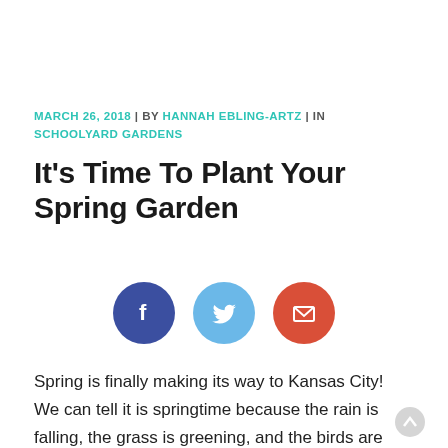MARCH 26, 2018 | BY HANNAH EBLING-ARTZ | IN SCHOOLYARD GARDENS
It’s Time To Plant Your Spring Garden
[Figure (infographic): Three social sharing icon circles: Facebook (dark blue), Twitter (light blue), Email (red-orange)]
Spring is finally making its way to Kansas City! We can tell it is springtime because the rain is falling, the grass is greening, and the birds are chirping. Over at KCCG we celebrate spring by getting our Schoolyard Gardens planted. We love going all over the city, waking up